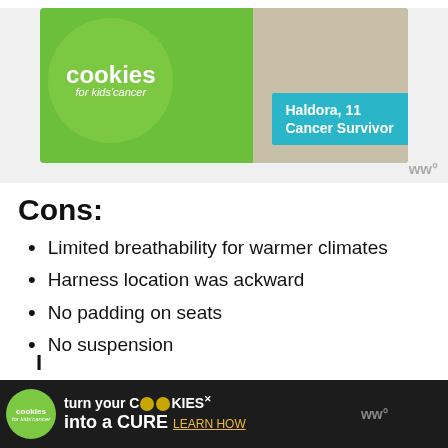[Figure (photo): Advertisement banner for 'Cookies for Kids Cancer' showing green circle logo, teal box with text 'Haldora, 11 Cancer Survivor', and a photo of stacked cookies/pancakes]
Cons:
Limited breathability for warmer climates
Harness location was ackward
No padding on seats
No suspension
[Figure (photo): Bottom advertisement banner for 'Cookies for Kids Cancer' with text 'turn your COOKIES into a CURE LEARN HOW' on dark background]